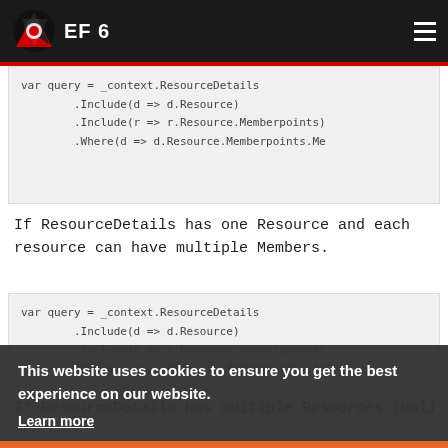EF 6
[Figure (screenshot): Code block showing: var query = _context.ResourceDetails .Include(d => d.Resource) .Include(r => r.Resource.Memberpoints) .Where(d => d.Resource.Memberpoints.Me]
If ResourceDetails has one Resource and each resource can have multiple Members.
[Figure (screenshot): Code block showing: var query = _context.ResourceDetails .Include(d => d.Resource) .Include(r => r.Resource.Memberpoints) .Where(r => r.Resource.Memberpoints.An]
If ResourceDetails has multiple Resources (unlikely)
This website uses cookies to ensure you get the best experience on our website. Learn more  Got it!
[Figure (screenshot): Code block showing: var query = _context.ResourceDetails]